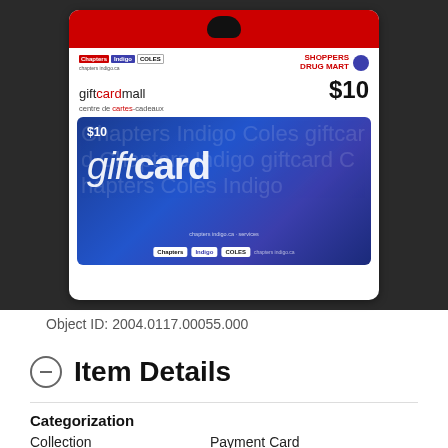[Figure (photo): A Chapters Indigo Coles $10 gift card displayed on a retail card package, sold at Shoppers Drug Mart. The package shows the giftcardmall / centre de cartes-cadeaux branding and the inner card is blue with 'gift card' text and brand logos.]
Object ID: 2004.0117.00055.000
⊖  Item Details
Categorization
|  |  |
| --- | --- |
| Collection | Payment Card |